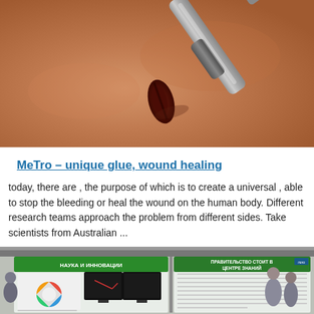[Figure (photo): Close-up photo of a wound or incision on skin, with a grey cylindrical instrument (needle or probe) inserted into or near the wound.]
MeTro – unique glue, wound healing
today, there are , the purpose of which is to create a universal , able to stop the bleeding or heal the wound on the human body. Different research teams approach the problem from different sides. Take scientists from Australian ...
[Figure (photo): Exhibition or conference scene with display boards in Russian text reading 'НАУКА И ИННОВАЦИИ' and 'ПРАВИТЕЛЬСТВО СТОИТ В ЦЕНТРЕ ЗНАНИЙ', computer monitors showing data, colorful circular infographic, and people browsing exhibits.]